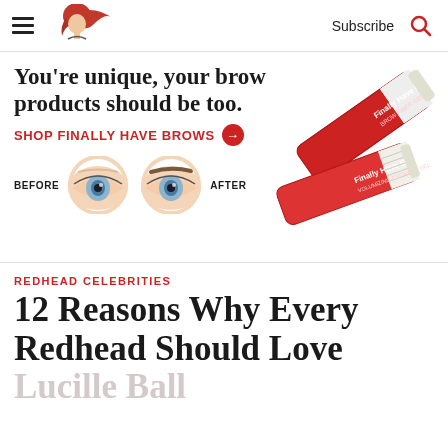Subscribe
[Figure (photo): Advertisement banner for Finally Have Brows brow products. Shows before/after eye photos with sparse and defined brows, and product tubes in red and white packaging. Headline: You're unique, your brow products should be too. CTA: SHOP FINALLY HAVE BROWS →]
REDHEAD CELEBRITIES
12 Reasons Why Every Redhead Should Love Lucille Ball